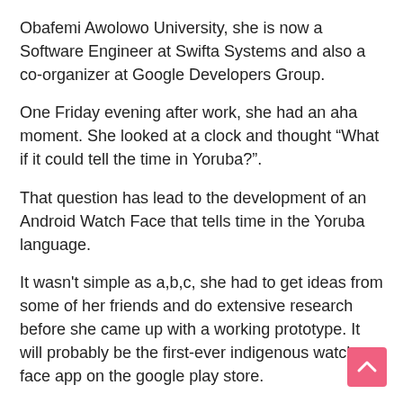Obafemi Awolowo University, she is now a Software Engineer at Swifta Systems and also a co-organizer at Google Developers Group.
One Friday evening after work, she had an aha moment. She looked at a clock and thought “What if it could tell the time in Yoruba?”.
That question has lead to the development of an Android Watch Face that tells time in the Yoruba language.
It wasn't simple as a,b,c, she had to get ideas from some of her friends and do extensive research before she came up with a working prototype. It will probably be the first-ever indigenous watch face app on the google play store.
Yoruba Watch Faces by Moyin is a collection of Watch Faces built in a popular local Nigerian dialect. There are currently two Watch Faces in the collection both of which are in Yoruba Language.